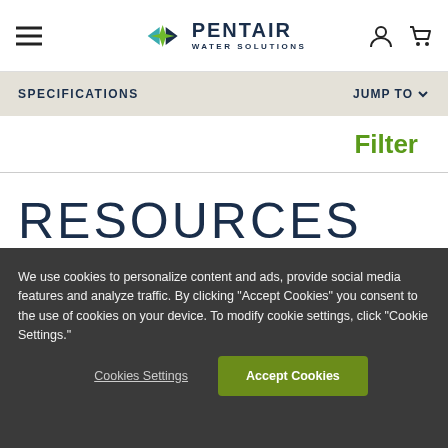[Figure (logo): Pentair Water Solutions logo with diamond arrow icon and text PENTAIR WATER SOLUTIONS]
SPECIFICATIONS
JUMP TO
Filter
RESOURCES
VIDEOS  DOWNLOADS  CERTIFICATIONS  WA…
We use cookies to personalize content and ads, provide social media features and analyze traffic. By clicking "Accept Cookies" you consent to the use of cookies on your device. To modify cookie settings, click "Cookie Settings."
Cookies Settings
Accept Cookies